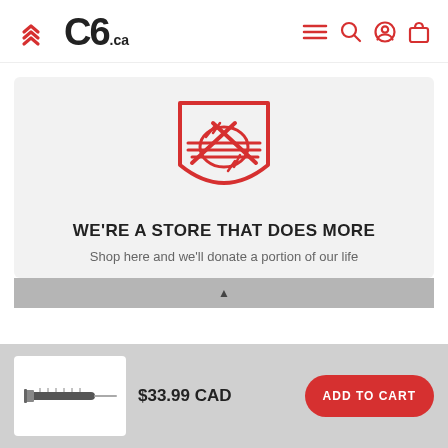C6.ca
[Figure (logo): Red shield/handshake icon — two hands shaking inside a shield shape, drawn in red outline style]
WE'RE A STORE THAT DOES MORE
Shop here and we'll donate a portion of our life...
[Figure (photo): Product image: a syringe/medical injector on white background]
$33.99 CAD
ADD TO CART